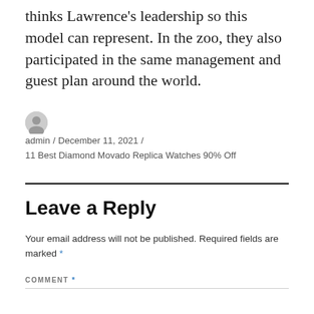thinks Lawrence's leadership so this model can represent. In the zoo, they also participated in the same management and guest plan around the world.
admin / December 11, 2021 / 11 Best Diamond Movado Replica Watches 90% Off
Leave a Reply
Your email address will not be published. Required fields are marked *
COMMENT *